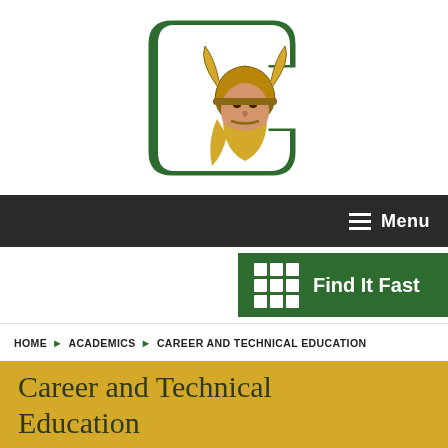[Figure (logo): School logo: green block letter 'GC' with a Viking mascot overlaid, wearing a horned helmet with gold/brown colors]
Menu
[Figure (infographic): Green 'Find It Fast' button with a 3x3 white grid icon on the left and white bold text 'Find It Fast']
HOME > ACADEMICS > CAREER AND TECHNICAL EDUCATION
Career and Technical Education